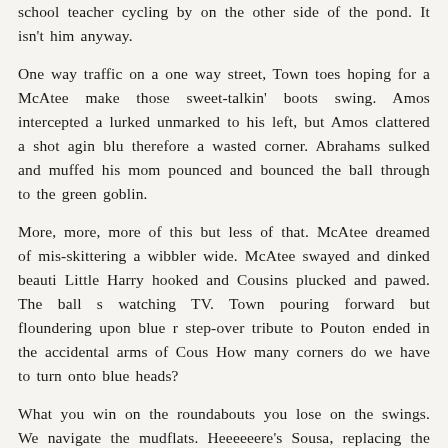school teacher cycling by on the other side of the pond. It isn't him anyway.
One way traffic on a one way street, Town toes hoping for a McAtee make those sweet-talkin' boots swing. Amos intercepted a lurked unmarked to his left, but Amos clattered a shot agin blu therefore a wasted corner. Abrahams sulked and muffed his mom pounced and bounced the ball through to the green goblin.
More, more, more of this but less of that. McAtee dreamed of mis-skittering a wibbler wide. McAtee swayed and dinked beautifully Little Harry hooked and Cousins plucked and pawed. The ball s watching TV. Town pouring forward but floundering upon blue r step-over tribute to Pouton ended in the accidental arms of Cous How many corners do we have to turn onto blue heads?
What you win on the roundabouts you lose on the swings. We navigate the mudflats. Heeeeeere's Sousa, replacing the drab Ab.
In and out, there is always a doubt just who's pulling the string competitive Kabaddi and a corner as a reward, curled by Coulso post and flying into the far corner. They forgot to run to the F